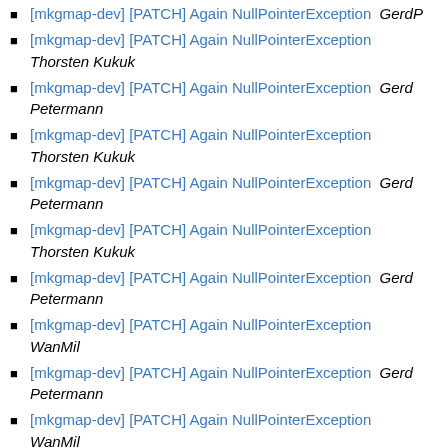[mkgmap-dev] [PATCH] Again NullPointerException  GerdP
[mkgmap-dev] [PATCH] Again NullPointerException  Thorsten Kukuk
[mkgmap-dev] [PATCH] Again NullPointerException  Gerd Petermann
[mkgmap-dev] [PATCH] Again NullPointerException  Thorsten Kukuk
[mkgmap-dev] [PATCH] Again NullPointerException  Gerd Petermann
[mkgmap-dev] [PATCH] Again NullPointerException  Thorsten Kukuk
[mkgmap-dev] [PATCH] Again NullPointerException  Gerd Petermann
[mkgmap-dev] [PATCH] Again NullPointerException  WanMil
[mkgmap-dev] [PATCH] Again NullPointerException  Gerd Petermann
[mkgmap-dev] [PATCH] Again NullPointerException  WanMil
[mkgmap-dev] [PATCH] Again NullPointerException